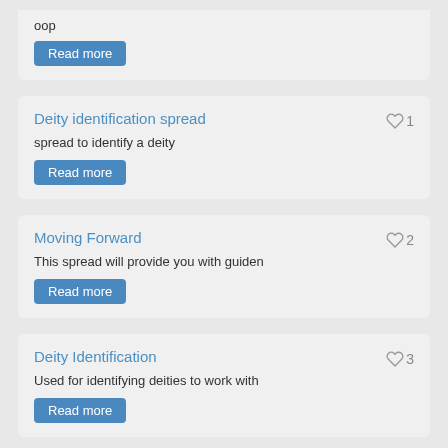oop
Read more
Deity identification spread
spread to identify a deity
Read more
Moving Forward
This spread will provide you with guiden
Read more
Deity Identification
Used for identifying deities to work with
Read more